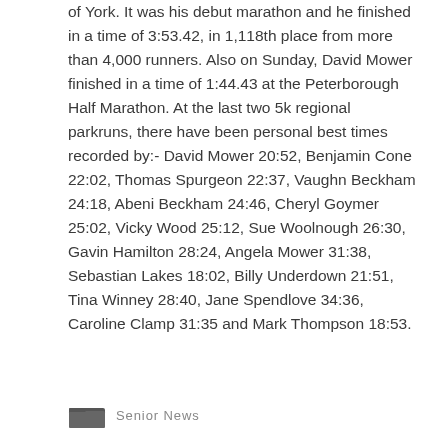of York. It was his debut marathon and he finished in a time of 3:53.42, in 1,118th place from more than 4,000 runners. Also on Sunday, David Mower finished in a time of 1:44.43 at the Peterborough Half Marathon. At the last two 5k regional parkruns, there have been personal best times recorded by:- David Mower 20:52, Benjamin Cone 22:02, Thomas Spurgeon 22:37, Vaughn Beckham 24:18, Abeni Beckham 24:46, Cheryl Goymer 25:02, Vicky Wood 25:12, Sue Woolnough 26:30, Gavin Hamilton 28:24, Angela Mower 31:38, Sebastian Lakes 18:02, Billy Underdown 21:51, Tina Winney 28:40, Jane Spendlove 34:36, Caroline Clamp 31:35 and Mark Thompson 18:53.
Senior News